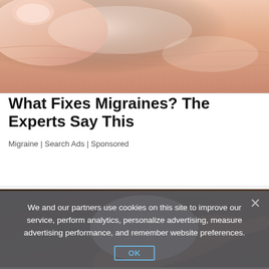[Figure (photo): Close-up photo of skin with a finger touching/peeling it, pinkish skin texture visible]
What Fixes Migraines? The Experts Say This
Migraine | Search Ads | Sponsored
[Figure (photo): Photo of white lumpy kefir grains on a wooden spoon against a dark wood background]
We and our partners use cookies on this site to improve our service, perform analytics, personalize advertising, measure advertising performance, and remember website preferences.
OK